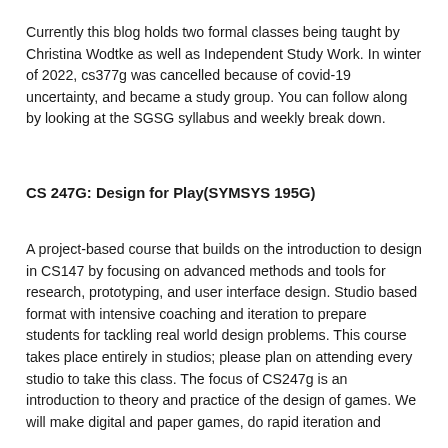Currently this blog holds two formal classes being taught by Christina Wodtke as well as Independent Study Work. In winter of 2022, cs377g was cancelled because of covid-19 uncertainty, and became a study group. You can follow along by looking at the SGSG syllabus and weekly break down.
CS 247G: Design for Play(SYMSYS 195G)
A project-based course that builds on the introduction to design in CS147 by focusing on advanced methods and tools for research, prototyping, and user interface design. Studio based format with intensive coaching and iteration to prepare students for tackling real world design problems. This course takes place entirely in studios; please plan on attending every studio to take this class. The focus of CS247g is an introduction to theory and practice of the design of games. We will make digital and paper games, do rapid iteration and